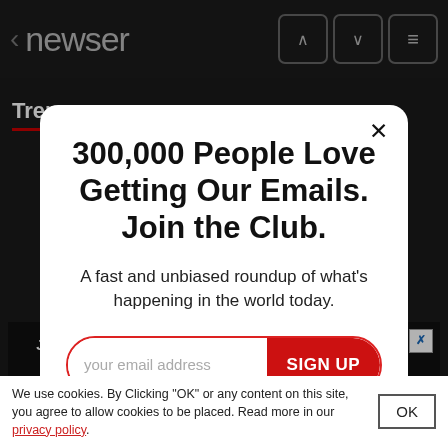< newser
Tren
300,000 People Love Getting Our Emails. Join the Club.
A fast and unbiased roundup of what's happening in the world today.
your email address  SIGN UP
Join the 300,000 people who start and end their day with newser newsletters
We use cookies. By Clicking "OK" or any content on this site, you agree to allow cookies to be placed. Read more in our privacy policy.